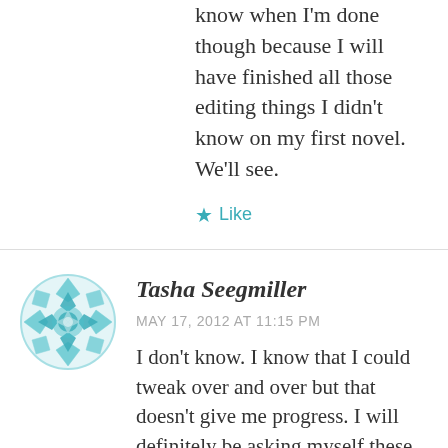know when I'm done though because I will have finished all those editing things I didn't know on my first novel. We'll see.
★ Like
Tasha Seegmiller
MAY 17, 2012 AT 11:15 PM
I don't know. I know that I could tweak over and over but that doesn't give me progress. I will definitely be asking myself these questions thought. Great job.